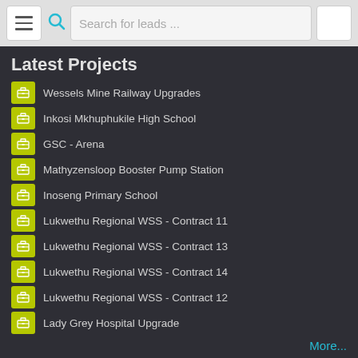Search for leads ...
Latest Projects
Wessels Mine Railway Upgrades
Inkosi Mkhuphukile High School
GSC - Arena
Mathyzensloop Booster Pump Station
Inoseng Primary School
Lukwethu Regional WSS - Contract 11
Lukwethu Regional WSS - Contract 13
Lukwethu Regional WSS - Contract 14
Lukwethu Regional WSS - Contract 12
Lady Grey Hospital Upgrade
More...
Visit our Blog...
Join in the conversation surrounding the construction industry, and share your comments.